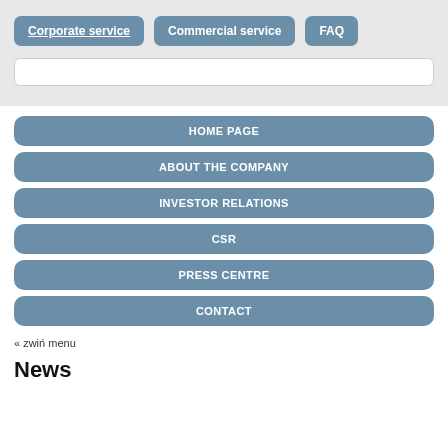Corporate service | Commercial service | FAQ
HOME PAGE
ABOUT THE COMPANY
INVESTOR RELATIONS
CSR
PRESS CENTRE
CONTACT
« zwiń menu
News